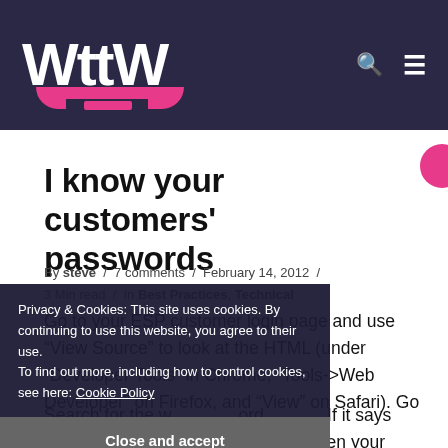WttW
I know your customers' passwords
By steve / 7 comments / February 14, 2012 / 3 Min read / In Best Practices, Technical
Go to your ESP customer login page and use “View Source” to look at the HTML (under “Developer Tools” in Chrome, “Tools->Web Developer” on Firefox, and “View” on Safari). Go on, I’ll wait…
Search for the word password or autocomplete. If it says something like autocomplete=“off” then your
Privacy & Cookies: This site uses cookies. By continuing to use this website, you agree to their use.
To find out more, including how to control cookies, see here: Cookie Policy
Close and accept